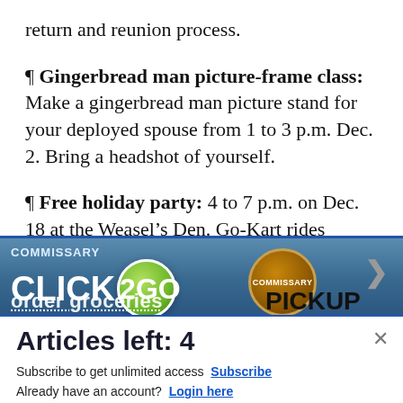return and reunion process.
¶ Gingerbread man picture-frame class: Make a gingerbread man picture stand for your deployed spouse from 1 to 3 p.m. Dec. 2. Bring a headshot of yourself.
¶ Free holiday party: 4 to 7 p.m. on Dec. 18 at the Weasel's Den. Go-Kart rides
[Figure (screenshot): Advertisement banner for Commissary Click2Go grocery ordering service, partially visible]
Articles left: 4
Subscribe to get unlimited access  Subscribe
Already have an account?  Login here